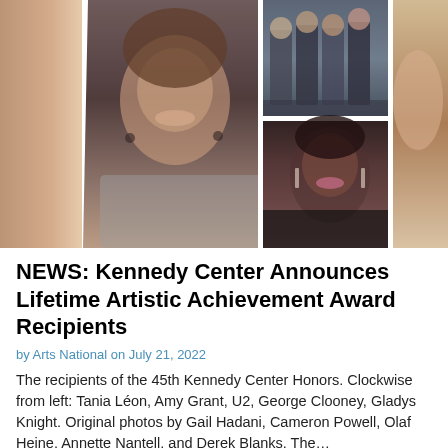[Figure (photo): Photo collage of Kennedy Center Honors recipients. Clockwise from left: Tania León (partial, left edge), Amy Grant (center, large portrait smiling with grey wrap), U2 (top right, group photo of band members in dark clothing), Gladys Knight (bottom right, smiling woman with short dark hair and chandelier earrings), and a partial photo at far right edge.]
NEWS: Kennedy Center Announces Lifetime Artistic Achievement Award Recipients
by Arts National on July 21, 2022
The recipients of the 45th Kennedy Center Honors. Clockwise from left: Tania Léon, Amy Grant, U2, George Clooney, Gladys Knight. Original photos by Gail Hadani, Cameron Powell, Olaf Heine, Annette Nantell, and Derek Blanks. The...